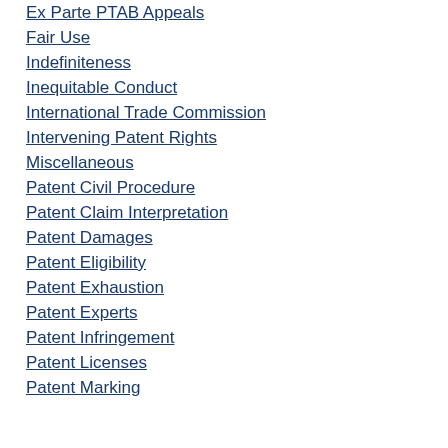Ex Parte PTAB Appeals
Fair Use
Indefiniteness
Inequitable Conduct
International Trade Commission
Intervening Patent Rights
Miscellaneous
Patent Civil Procedure
Patent Claim Interpretation
Patent Damages
Patent Eligibility
Patent Exhaustion
Patent Experts
Patent Infringement
Patent Licenses
Patent Marking